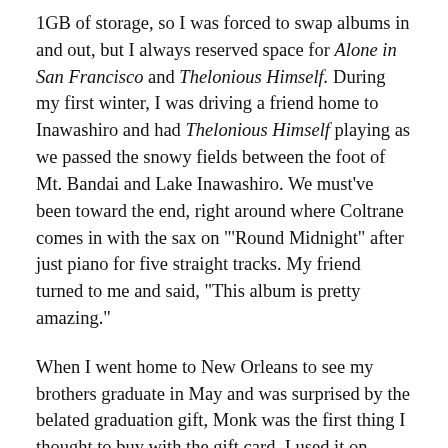1GB of storage, so I was forced to swap albums in and out, but I always reserved space for Alone in San Francisco and Thelonious Himself. During my first winter, I was driving a friend home to Inawashiro and had Thelonious Himself playing as we passed the snowy fields between the foot of Mt. Bandai and Lake Inawashiro. We must've been toward the end, right around where Coltrane comes in with the sax on "'Round Midnight" after just piano for five straight tracks. My friend turned to me and said, "This album is pretty amazing."
When I went home to New Orleans to see my brothers graduate in May and was surprised by the belated graduation gift, Monk was the first thing I thought to buy with the gift card. I used it on Monk's Dream and the documentary Straight, No Chaser. We went to dinner with the family at one point while I was home, and I told them what I had bought.
"Thelonious Monk?!" the mother said with half-sincere, half-joking incredulity. "We wanted you to have some fun! That's